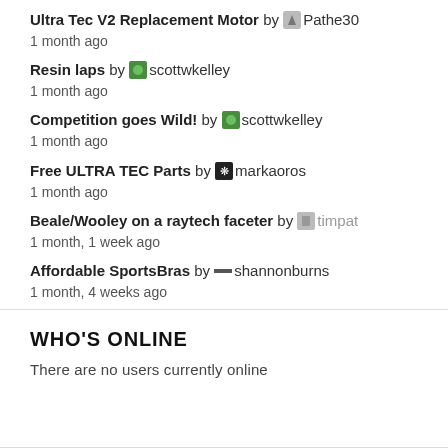Ultra Tec V2 Replacement Motor by Pathe30
1 month ago
Resin laps by scottwkelley
1 month ago
Competition goes Wild! by scottwkelley
1 month ago
Free ULTRA TEC Parts by markaoros
1 month ago
Beale/Wooley on a raytech faceter by timpat
1 month, 1 week ago
Affordable SportsBras by shannonburns
1 month, 4 weeks ago
WHO'S ONLINE
There are no users currently online